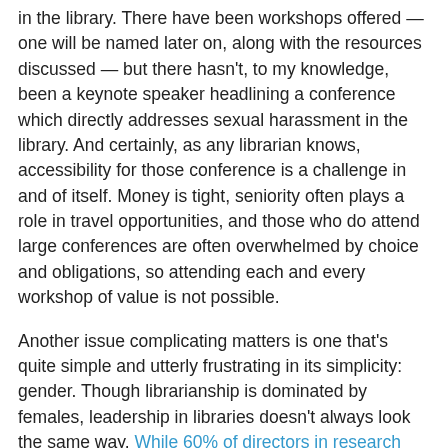in the library. There have been workshops offered — one will be named later on, along with the resources discussed — but there hasn't, to my knowledge, been a keynote speaker headlining a conference which directly addresses sexual harassment in the library. And certainly, as any librarian knows, accessibility for those conference is a challenge in and of itself. Money is tight, seniority often plays a role in travel opportunities, and those who do attend large conferences are often overwhelmed by choice and obligations, so attending each and every workshop of value is not possible.
Another issue complicating matters is one that's quite simple and utterly frustrating in its simplicity: gender. Though librarianship is dominated by females, leadership in libraries doesn't always look the same way. While 60% of directors in research libraries are female, that still leaves a whopping 40% of those libraries under the leadership of a man. In public libraries, the percentage isn't as wide, though 35% of directors in public libraries are male. Looking at this another way, research libraries are 68% female employees and public libraries are 79% female employees.